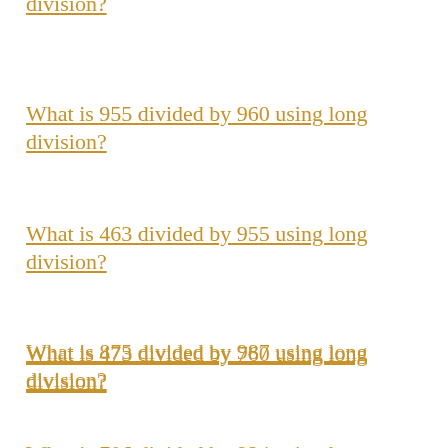division?
What is 955 divided by 960 using long division?
What is 463 divided by 955 using long division?
What is 875 divided by 987 using long division?
What is 473 divided by 760 using long division?
What is 706 divided by 924 using long division?